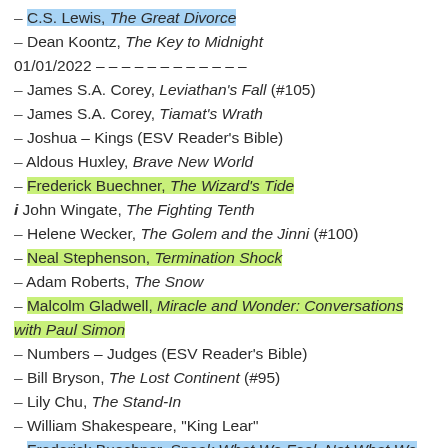– C.S. Lewis, The Great Divorce
– Dean Koontz, The Key to Midnight
01/01/2022 – – – – – – – – – – – –
– James S.A. Corey, Leviathan's Fall (#105)
– James S.A. Corey, Tiamat's Wrath
– Joshua – Kings (ESV Reader's Bible)
– Aldous Huxley, Brave New World
– Frederick Buechner, The Wizard's Tide
i John Wingate, The Fighting Tenth
– Helene Wecker, The Golem and the Jinni (#100)
– Neal Stephenson, Termination Shock
– Adam Roberts, The Snow
– Malcolm Gladwell, Miracle and Wonder: Conversations with Paul Simon
– Numbers – Judges (ESV Reader's Bible)
– Bill Bryson, The Lost Continent (#95)
– Lily Chu, The Stand-In
– William Shakespeare, "King Lear"
– Frederick Buechner, Speak What We Feel, Not What We